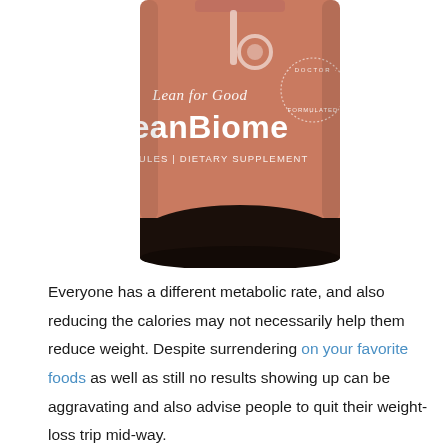[Figure (photo): A bottle of LeanBiome dietary supplement by Lean for Good. The bottle is dark glass with a salmon/terracotta colored label showing the brand logo (a vertical bar and circle), the text 'Lean for Good', 'LeanBiome' in bold white, '30 CAPSULES | DIETARY SUPPLEMENT', and a circular badge reading 'DOCTOR FORMULATED'.]
Everyone has a different metabolic rate, and also reducing the calories may not necessarily help them reduce weight. Despite surrendering on your favorite foods as well as still no results showing up can be aggravating and also advise people to quit their weight-loss trip mid-way.